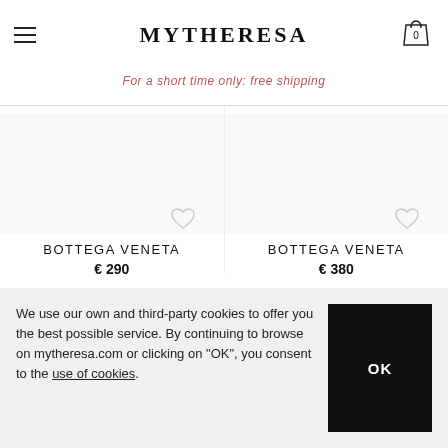MYTHERESA
For a short time only: free shipping
BOTTEGA VENETA
€ 290
BOTTEGA VENETA
€ 380
We use our own and third-party cookies to offer you the best possible service. By continuing to browse on mytheresa.com or clicking on "OK", you consent to the use of cookies.